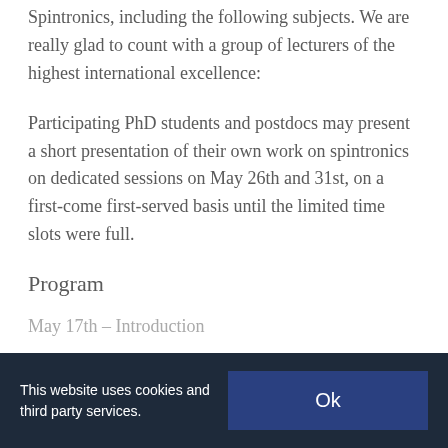Spintronics, including the following subjects. We are really glad to count with a group of lecturers of the highest international excellence:
Participating PhD students and postdocs may present a short presentation of their own work on spintronics on dedicated sessions on May 26th and 31st, on a first-come first-served basis until the limited time slots were full.
Program
May 17th – Introduction
This website uses cookies and third party services.